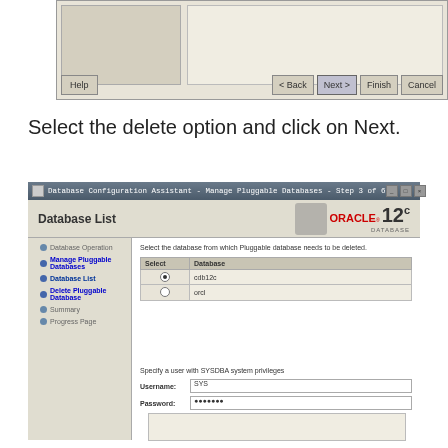[Figure (screenshot): Top fragment of a Database Configuration Assistant wizard window showing two panels and navigation buttons (Help, Back, Next, Finish, Cancel)]
Select the delete option and click on Next.
[Figure (screenshot): Database Configuration Assistant - Manage Pluggable Databases - Step 3 of 6 window showing Database List step with a table listing databases (cdb12c, orcl), left navigation panel with steps, and credential fields for Username (SYS) and Password.]